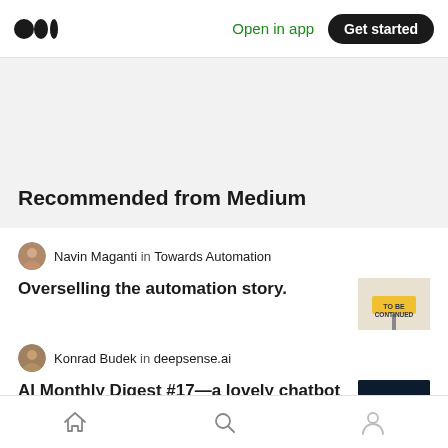Medium logo | Open in app | Get started
Recommended from Medium
Navin Maganti in Towards Automation
Overselling the automation story.
[Figure (photo): Road sign reading 'TO BE CONTINUED' on yellow sign post against white background]
Konrad Budek in deepsense.ai
AI Monthly Digest #17—a lovely chatbot—deepsense.ai
[Figure (photo): Dark blue background with mathematical fraction p over l·n·d in white text]
Home | Search | Profile